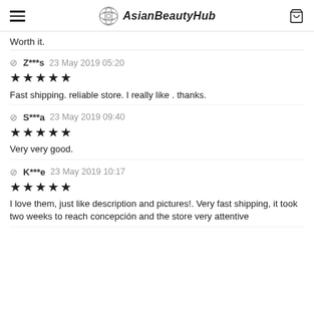AsianBeautyHub
Worth it.
Z***s  23 May 2019 05:20
★★★★★
Fast shipping. reliable store. I really like . thanks.
S***a  23 May 2019 09:40
★★★★★
Very very good.
K***e  23 May 2019 10:17
★★★★★
I love them, just like description and pictures!. Very fast shipping, it took two weeks to reach concepción and the store very attentive